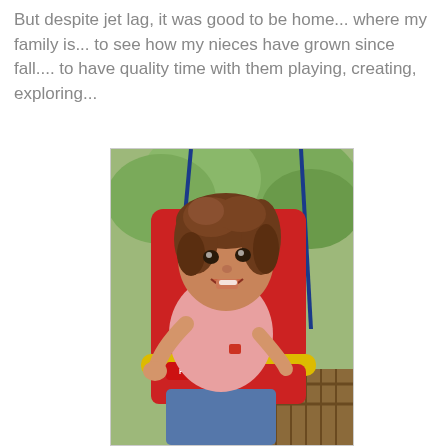But despite jet lag, it was good to be home... where my family is... to see how my nieces have grown since fall.... to have quality time with them playing, creating, exploring...
[Figure (photo): A young toddler girl with curly brown hair sitting in a red Fisher-Price swing, wearing a pink shirt and blue jeans, leaning forward with mouth open, outdoors with green foliage in background and wooden railing visible.]